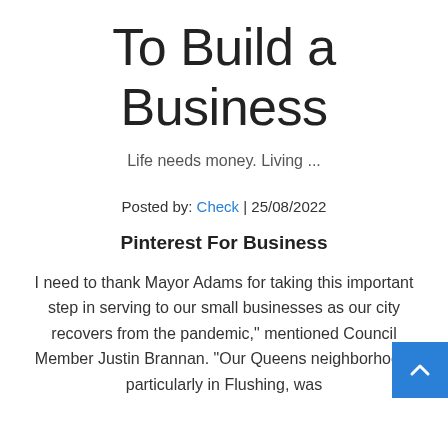To Build a Business
Life needs money. Living ...
Posted by: Check | 25/08/2022
Pinterest For Business
I need to thank Mayor Adams for taking this important step in serving to our small businesses as our city recovers from the pandemic," mentioned Council Member Justin Brannan. "Our Queens neighborhood, particularly in Flushing, was